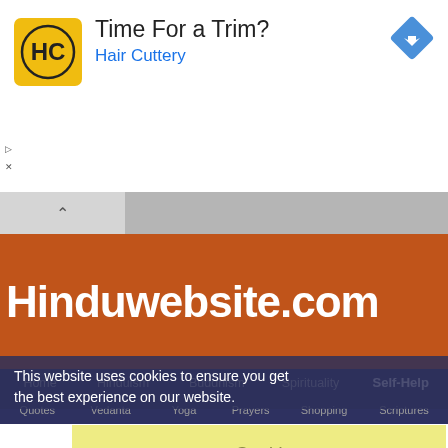[Figure (screenshot): Advertisement banner for Hair Cuttery with logo, text 'Time For a Trim?' and 'Hair Cuttery', plus a blue navigation diamond icon on the right]
[Figure (screenshot): Hinduwebsite.com orange banner with bold white text on dark orange background]
Home   Hinduism   Buddhism   Spirituality   Self-Help
Quotes   Vedanta   Yoga   Prayers   Shopping   Scriptures
This website uses cookies to ensure you get the best experience on our website.
Got it!
[Figure (screenshot): Social media share bar with Facebook (blue), Twitter (light blue), email/envelope (gray), and plus (red-orange) buttons]